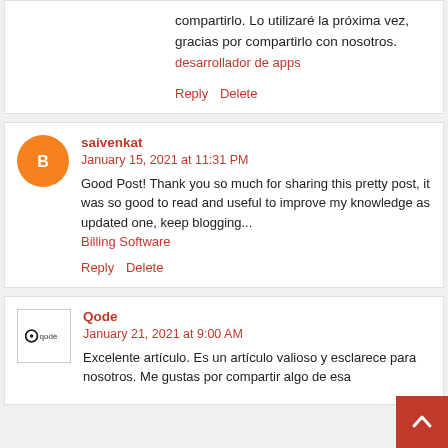compartirlo. Lo utilizaré la próxima vez, gracias por compartirlo con nosotros. desarrollador de apps
Reply  Delete
saivenkat
January 15, 2021 at 11:31 PM
Good Post! Thank you so much for sharing this pretty post, it was so good to read and useful to improve my knowledge as updated one, keep blogging... Billing Software
Reply  Delete
Qode
January 21, 2021 at 9:00 AM
Excelente artículo. Es un artículo valioso y esclarece para nosotros. Me gustas por compartir algo de esa